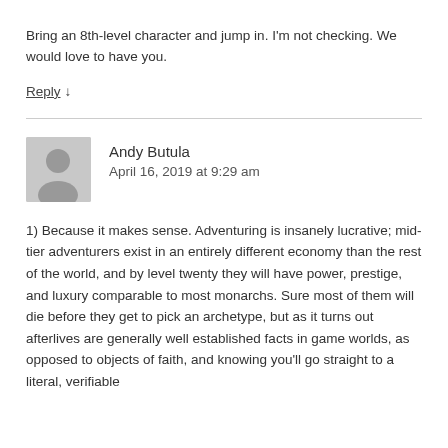Bring an 8th-level character and jump in. I'm not checking. We would love to have you.
Reply ↓
Andy Butula
April 16, 2019 at 9:29 am
1) Because it makes sense. Adventuring is insanely lucrative; mid-tier adventurers exist in an entirely different economy than the rest of the world, and by level twenty they will have power, prestige, and luxury comparable to most monarchs. Sure most of them will die before they get to pick an archetype, but as it turns out afterlives are generally well established facts in game worlds, as opposed to objects of faith, and knowing you'll go straight to a literal, verifiable